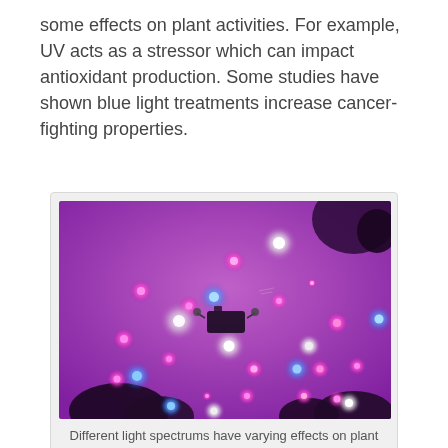some effects on plant activities. For example, UV acts as a stressor which can impact antioxidant production. Some studies have shown blue light treatments increase cancer-fighting properties.
[Figure (photo): Photograph of LED grow lights emitting pink, red, blue, and white light dots against a purple-lit background, with plant silhouettes visible at the bottom. The scene shows multiple colored LED lights used in indoor plant cultivation.]
Different light spectrums have varying effects on plant growth.